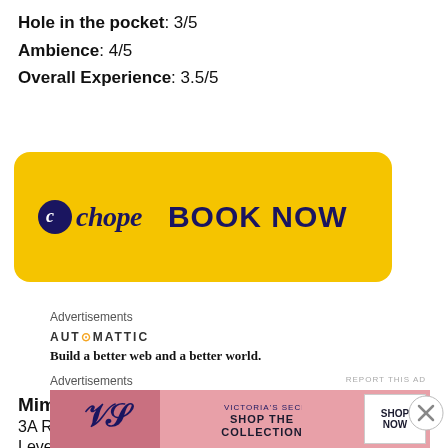Hole in the pocket: 3/5
Ambience: 4/5
Overall Experience: 3.5/5
[Figure (other): Chope restaurant booking banner in yellow with logo and BOOK NOW button]
Advertisements
[Figure (other): Automattic advertisement: Build a better web and a better world.]
REPORT THIS AD
Mimi at The Riverhouse
3A River Valley Road
Level 2, Singapore 179020
Advertisements
[Figure (other): Victoria's Secret advertisement banner: SHOP THE COLLECTION, SHOP NOW]